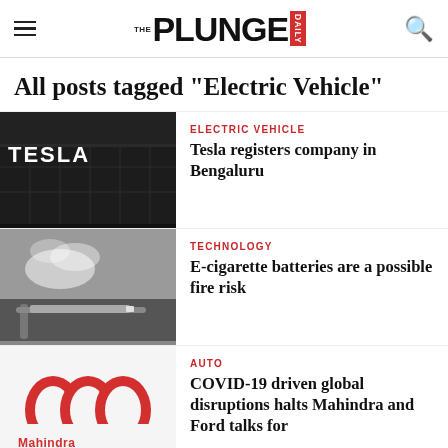THE PLUNGE DAILY
All posts tagged "Electric Vehicle"
[Figure (photo): Tesla storefront signage]
ELECTRIC VEHICLE
Tesla registers company in Bengaluru
[Figure (photo): Person using e-cigarette with vapor]
TECHNOLOGY
E-cigarette batteries are a possible fire risk
[Figure (logo): Mahindra logo]
AUTO
COVID-19 driven global disruptions halts Mahindra and Ford talks for